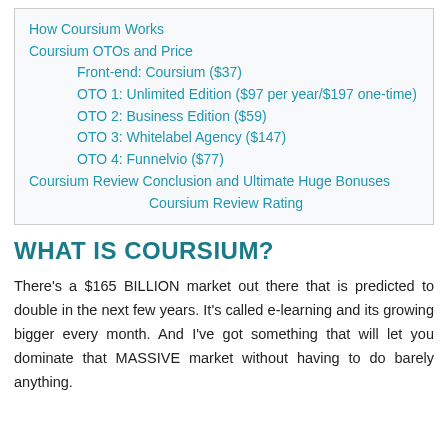How Coursium Works
Coursium OTOs and Price
Front-end: Coursium ($37)
OTO 1: Unlimited Edition ($97 per year/$197 one-time)
OTO 2: Business Edition ($59)
OTO 3: Whitelabel Agency ($147)
OTO 4: Funnelvio ($77)
Coursium Review Conclusion and Ultimate Huge Bonuses
Coursium Review Rating
WHAT IS COURSIUM?
There's a $165 BILLION market out there that is predicted to double in the next few years. It's called e-learning and its growing bigger every month. And I've got something that will let you dominate that MASSIVE market without having to do barely anything.